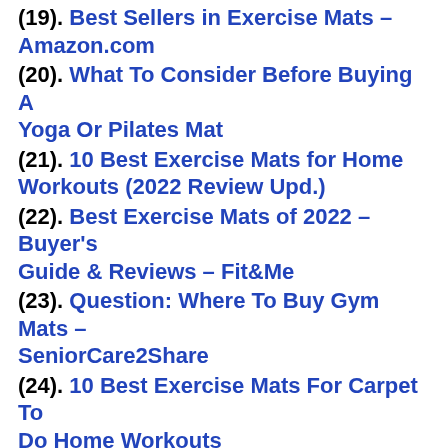(19). Best Sellers in Exercise Mats – Amazon.com
(20). What To Consider Before Buying A Yoga Or Pilates Mat
(21). 10 Best Exercise Mats for Home Workouts (2022 Review Upd.)
(22). Best Exercise Mats of 2022 – Buyer's Guide & Reviews – Fit&Me
(23). Question: Where To Buy Gym Mats – SeniorCare2Share
(24). 10 Best Exercise Mats For Carpet To Do Home Workouts